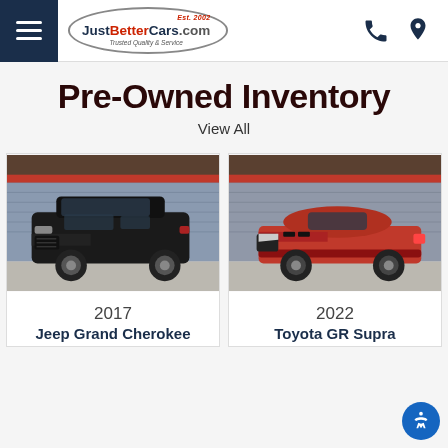JustBetterCars.com — Est. 2002 — Trusted Quality & Service
Pre-Owned Inventory
View All
[Figure (photo): Black Jeep Grand Cherokee parked under a carport at a car dealership lot]
[Figure (photo): Red Toyota GR Supra parked under a carport at a car dealership lot]
2017
Jeep Grand Cherokee
2022
Toyota GR Supra